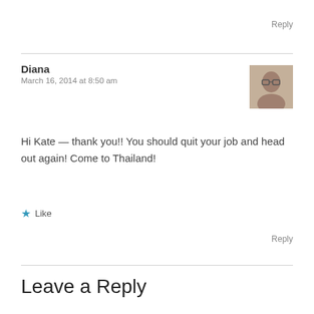Reply
Diana
March 16, 2014 at 8:50 am
Hi Kate — thank you!! You should quit your job and head out again! Come to Thailand!
★ Like
Reply
Leave a Reply